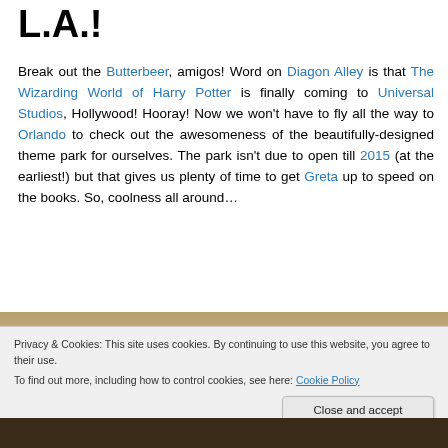L.A.!
Break out the Butterbeer, amigos! Word on Diagon Alley is that The Wizarding World of Harry Potter is finally coming to Universal Studios, Hollywood! Hooray! Now we won't have to fly all the way to Orlando to check out the awesomeness of the beautifully-designed theme park for ourselves. The park isn't due to open till 2015 (at the earliest!) but that gives us plenty of time to get Greta up to speed on the books. So, coolness all around…
[Figure (photo): Photo strip showing a warm-toned scene, partially visible]
Privacy & Cookies: This site uses cookies. By continuing to use this website, you agree to their use.
To find out more, including how to control cookies, see here: Cookie Policy
[Figure (photo): Dark photo strip at the bottom of the page]